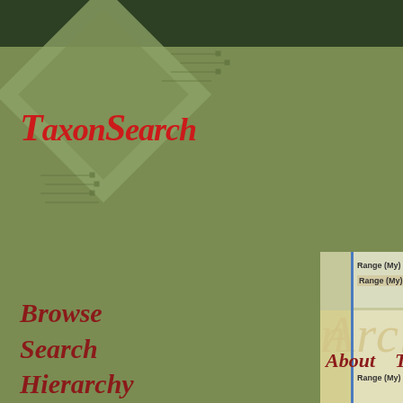[Figure (screenshot): TaxonSearch website interface showing logo with diamond shape and circuit lines, navigation menu on left sidebar with olive green background, and partial view of Archosaur search results panel with Range (My) labels and blue border lines]
TaxonSearch
Browse
Search
Hierarchy
Graphs
Tree
References
Range (My)
Range (My)
Archosaur
About    Terminology
Range (My)